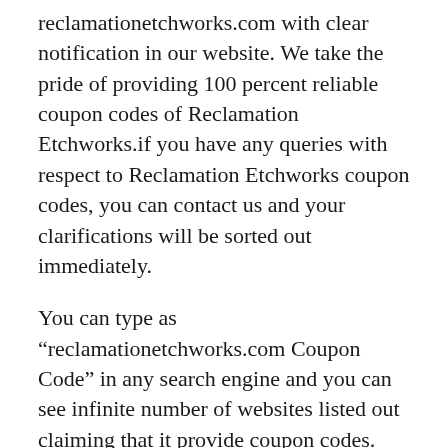reclamationetchworks.com with clear notification in our website. We take the pride of providing 100 percent reliable coupon codes of Reclamation Etchworks.if you have any queries with respect to Reclamation Etchworks coupon codes, you can contact us and your clarifications will be sorted out immediately.
You can type as “reclamationetchworks.com Coupon Code” in any search engine and you can see infinite number of websites listed out claiming that it provide coupon codes. The main question here is reliability and it is unnecessary to search coupon codes for every single product of Reclamation Etchworks in different websites.ExhibitCoupon.com is to help you in finding all the coupons and latest offers of Reclamation Etchworks in a single click. And, if you don’t find after searching as “Reclamation Etchworks Coupon Code”, you can use other keywords like “reclamationetchworks.com Promo